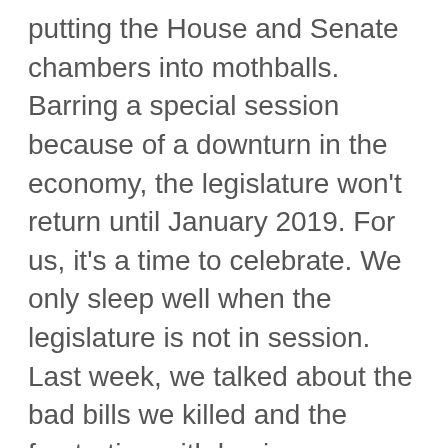putting the House and Senate chambers into mothballs. Barring a special session because of a downturn in the economy, the legislature won't return until January 2019. For us, it's a time to celebrate. We only sleep well when the legislature is not in session. Last week, we talked about the bad bills we killed and the frustration with having our locker room privacy bill killed by four misguided Republicans. This week we'll discuss the bills that we supported.

As I've said before, we operate in four main areas of social policy: life, marriage and family, religious freedom and school choice. Under each area of life, we had forms to